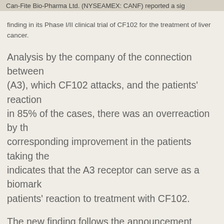Can-Fite Bio-Pharma Ltd. (NYSEAMEX: CANF) reported a sig...
finding in its Phase I/II clinical trial of CF102 for the treatment of liver cancer.
Analysis by the company of the connection between (A3), which CF102 attacks, and the patients' reaction in 85% of the cases, there was an overreaction by the corresponding improvement in the patients taking the indicates that the A3 receptor can serve as a biomark patients' reaction to treatment with CF102.
The new finding follows the announcement earlier thi safety and efficacy trial had achieved its primary and
The HCC study which was conducted under the supe Salomon M. Stemmer, Institute of Oncology, Davidof Medical Center, included 18 patients with HCC, most prior treatment with Sorafenib (Nexavar), the only cu for this indication. The primary study objectives were profile of long-term administration of CF102 at 3 diffe patients with HCC, and to determine the pharmacoki